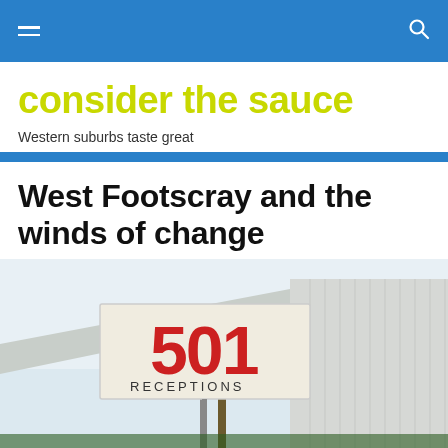consider the sauce — navigation bar
consider the sauce
Western suburbs taste great
West Footscray and the winds of change
[Figure (photo): Outdoor sign reading '501 RECEPTIONS' with palm trees and a corrugated metal building in the background against a pale sky]
Follow  •••